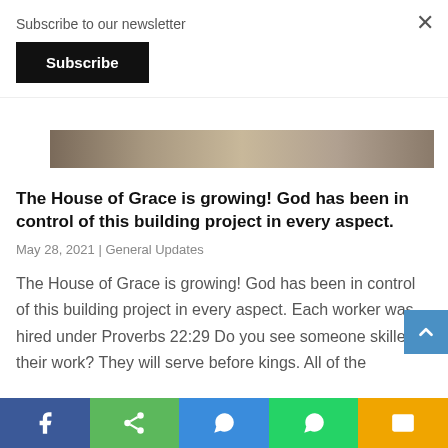Subscribe to our newsletter
Subscribe
[Figure (photo): Partial view of a building or construction site interior, brownish horizontal strip]
The House of Grace is growing! God has been in control of this building project in every aspect.
May 28, 2021  |  General Updates
The House of Grace is growing! God has been in control of this building project in every aspect. Each worker was hired under Proverbs 22:29 Do you see someone skilled in their work? They will serve before kings. All of the
f  share  messenger  whatsapp  SMS